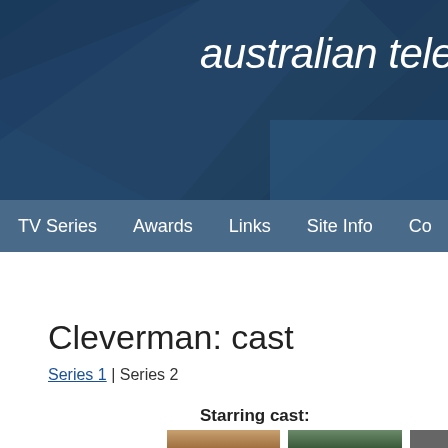australian televis
TV Series | Awards | Links | Site Info | Con
Cleverman: cast
Series 1 | Series 2
Starring cast:
[Figure (photo): Three cast photos partially visible at bottom of page]